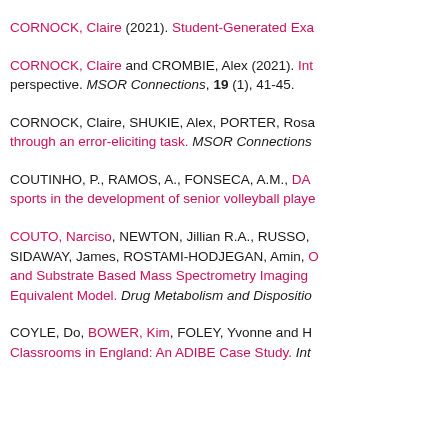CORNOCK, Claire (2021). Student-Generated Exa...
CORNOCK, Claire and CROMBIE, Alex (2021). Int... perspective. MSOR Connections, 19 (1), 41-45.
CORNOCK, Claire, SHUKIE, Alex, PORTER, Rosa... through an error-eliciting task. MSOR Connections...
COUTINHO, P., RAMOS, A., FONSECA, A.M., DAV... sports in the development of senior volleyball playe...
COUTO, Narciso, NEWTON, Jillian R.A., RUSSO,... SIDAWAY, James, ROSTAMI-HODJEGAN, Amin, ... and Substrate Based Mass Spectrometry Imaging... Equivalent Model. Drug Metabolism and Dispositio...
COYLE, Do, BOWER, Kim, FOLEY, Yvonne and H... Classrooms in England: An ADIBE Case Study. Int...